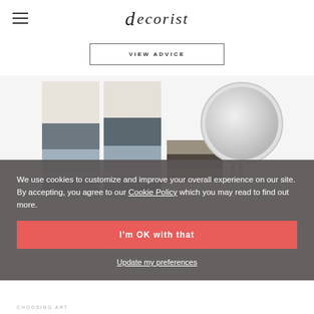decorist
VIEW ADVICE
[Figure (photo): Two abstract landscape art panels side by side, showing muted blue and grey tones with dark horizontal brushstrokes]
[Figure (photo): Round silver/grey wall mirror with mirror stand visible below]
[Figure (photo): Small square abstract art piece in dark tones]
We use cookies to customize and improve your overall experience on our site. By accepting, you agree to our Cookie Policy which you may read to find out more.
I'm OK with that
Update my preferences
CHOOSING ART